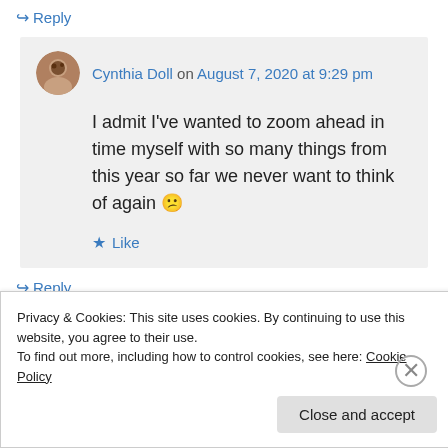↪ Reply
Cynthia Doll on August 7, 2020 at 9:29 pm
I admit I've wanted to zoom ahead in time myself with so many things from this year so far we never want to think of again 😕
★ Like
↪ Reply
Privacy & Cookies: This site uses cookies. By continuing to use this website, you agree to their use.
To find out more, including how to control cookies, see here: Cookie Policy
Close and accept